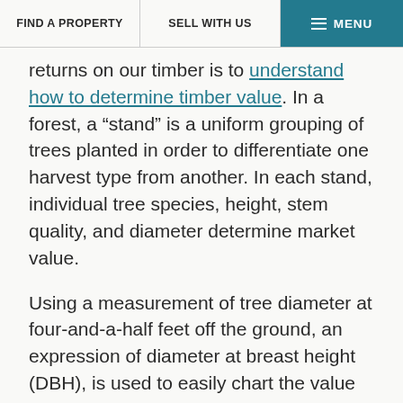FIND A PROPERTY | SELL WITH US | MENU
returns on our timber is to understand how to determine timber value. In a forest, a “stand” is a uniform grouping of trees planted in order to differentiate one harvest type from another. In each stand, individual tree species, height, stem quality, and diameter determine market value.
Using a measurement of tree diameter at four-and-a-half feet off the ground, an expression of diameter at breast height (DBH), is used to easily chart the value of trees. This is because as a tree grows, its greater diameter yields a